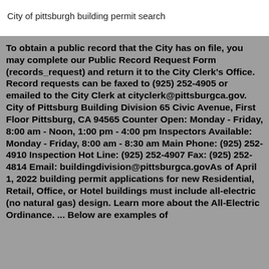City of pittsburgh building permit search
To obtain a public record that the City has on file, you may complete our Public Record Request Form (records_request) and return it to the City Clerk's Office. Record requests can be faxed to (925) 252-4905 or emailed to the City Clerk at cityclerk@pittsburgca.gov. City of Pittsburg Building Division 65 Civic Avenue, First Floor Pittsburg, CA 94565 Counter Open: Monday - Friday, 8:00 am - Noon, 1:00 pm - 4:00 pm Inspectors Available: Monday - Friday, 8:00 am - 8:30 am Main Phone: (925) 252-4910 Inspection Hot Line: (925) 252-4907 Fax: (925) 252-4814 Email: buildingdivision@pittsburgca.govAs of April 1, 2022 building permit applications for new Residential, Retail, Office, or Hotel buildings must include all-electric (no natural gas) design. Learn more about the All-Electric Ordinance. ... Below are examples of